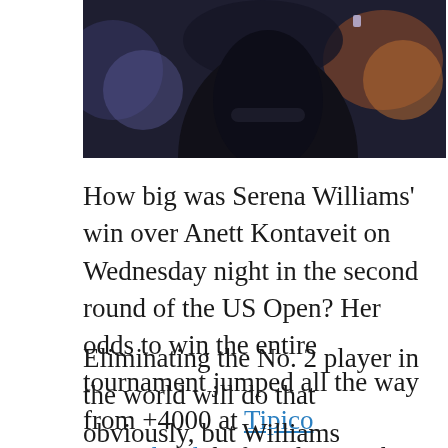[Figure (photo): Partial photo of Serena Williams in dark outfit, crowd visible in background]
How big was Serena Williams' win over Anett Kontaveit on Wednesday night in the second round of the US Open? Her odds to win the entire tournament jumped all the way from +4000 at Tipico Sportsbook before the match to +1300 on Thursday afternoon.
Eliminating the No. 2 player in the world will do that obviously, but Williams jumped a lot more players in the process. Her odds are now shorter than all but five players in the tournament as she gets set for her third-round match against Ajla Tomljanovic on Friday